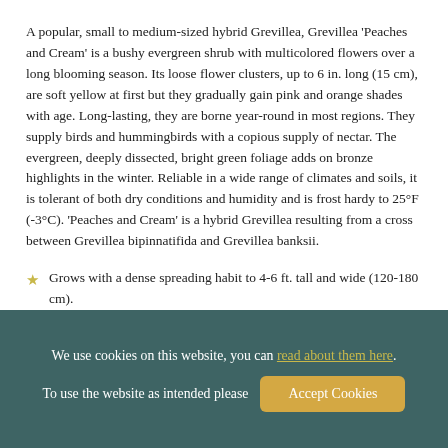A popular, small to medium-sized hybrid Grevillea, Grevillea 'Peaches and Cream' is a bushy evergreen shrub with multicolored flowers over a long blooming season. Its loose flower clusters, up to 6 in. long (15 cm), are soft yellow at first but they gradually gain pink and orange shades with age. Long-lasting, they are borne year-round in most regions. They supply birds and hummingbirds with a copious supply of nectar. The evergreen, deeply dissected, bright green foliage adds on bronze highlights in the winter. Reliable in a wide range of climates and soils, it is tolerant of both dry conditions and humidity and is frost hardy to 25°F (-3°C). 'Peaches and Cream' is a hybrid Grevillea resulting from a cross between Grevillea bipinnatifida and Grevillea banksii.
Grows with a dense spreading habit to 4-6 ft. tall and wide (120-180 cm).
We use cookies on this website, you can read about them here. To use the website as intended please Accept Cookies